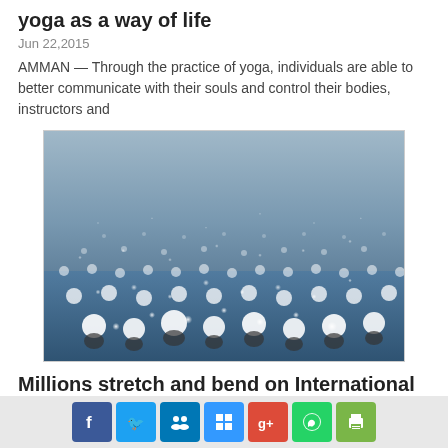yoga as a way of life
Jun 22,2015
AMMAN — Through the practice of yoga, individuals are able to better communicate with their souls and control their bodies, instructors and
[Figure (photo): Large crowd of people in white shirts practicing yoga together on blue mats, International Day of Yoga event in India]
Millions stretch and bend on International Day of Yoga in India
Jun 21,2016
CHANDIGARH, India — Millions across India on Tuesday celebrated the International Day of Yoga, the country's signature cultural export, with
Social share icons: Facebook, Twitter, LinkedIn, Delicious, Google+, WhatsApp, Print